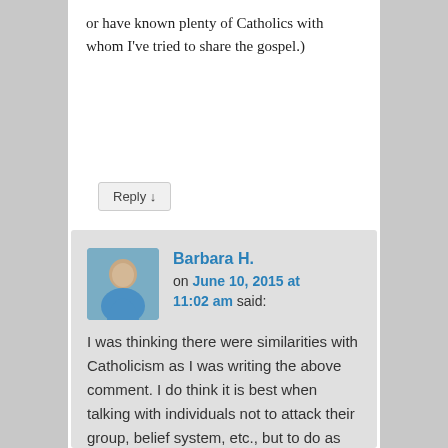or have known plenty of Catholics with whom I've tried to share the gospel.)
Reply ↓
Barbara H. on June 10, 2015 at 11:02 am said:
I was thinking there were similarities with Catholicism as I was writing the above comment. I do think it is best when talking with individuals not to attack their group, belief system, etc., but to do as you said, "telling them the gospel of grace by faith apart from